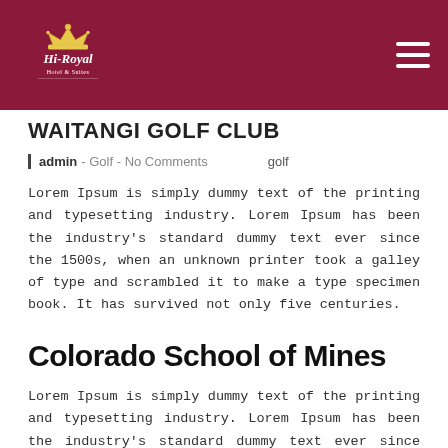[Figure (logo): Hi-Royal Hotel & Suites logo in white on dark maroon header bar]
WAITANGI GOLF CLUB
| admin - Golf - No Comments    golf
Lorem Ipsum is simply dummy text of the printing and typesetting industry. Lorem Ipsum has been the industry's standard dummy text ever since the 1500s, when an unknown printer took a galley of type and scrambled it to make a type specimen book. It has survived not only five centuries.
Colorado School of Mines
Lorem Ipsum is simply dummy text of the printing and typesetting industry. Lorem Ipsum has been the industry's standard dummy text ever since the 1500s, when an unknown printer took a galley of type and scrambled it to make a type